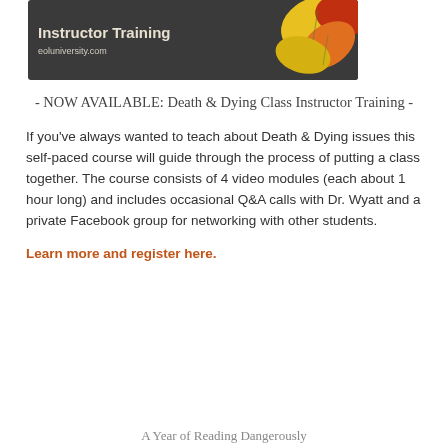[Figure (illustration): Dark chalkboard-style banner image with text 'Instructor Training' in bold white letters on dark background, with colorful autumn leaves (yellow, orange, red) on the right side, and 'eoluniversity.com' at the bottom left.]
- NOW AVAILABLE: Death & Dying Class Instructor Training -
If you’ve always wanted to teach about Death & Dying issues this self-paced course will guide through the process of putting a class together. The course consists of 4 video modules (each about 1 hour long) and includes occasional Q&A calls with Dr. Wyatt and a private Facebook group for networking with other students.
Learn more and register here.
A Year of Reading Dangerously